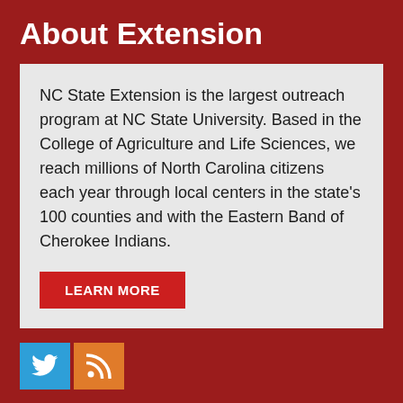About Extension
NC State Extension is the largest outreach program at NC State University. Based in the College of Agriculture and Life Sciences, we reach millions of North Carolina citizens each year through local centers in the state's 100 counties and with the Eastern Band of Cherokee Indians.
LEARN MORE
[Figure (illustration): Social media icons: Twitter (blue) and RSS (orange)]
Let's Stay In Touch
We have several topic based email newsletters that